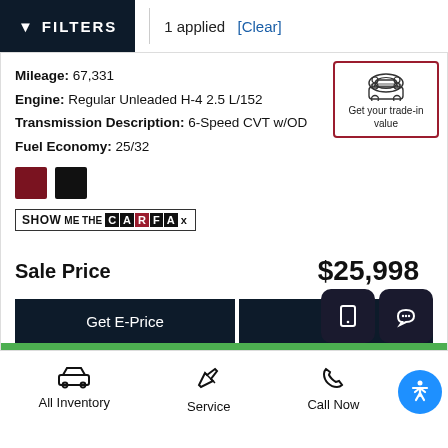FILTERS | 1 applied [Clear]
Mileage: 67,331
Engine: Regular Unleaded H-4 2.5 L/152
Transmission Description: 6-Speed CVT w/OD
Fuel Economy: 25/32
[Figure (other): Get your trade-in value widget with car icon, red border]
[Figure (logo): SHOW ME THE CARFAX logo badge]
Sale Price   $25,998
Get E-Price   Save
All Inventory   Service   Call Now